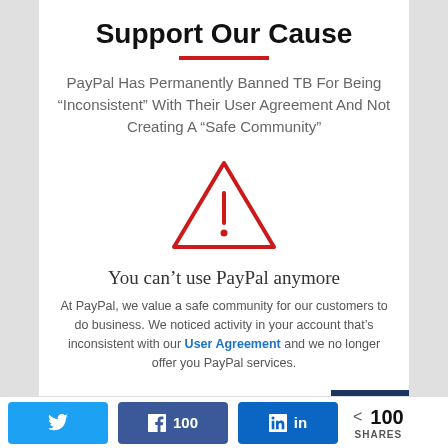Support Our Cause
PayPal Has Permanently Banned TB For Being “Inconsistent” With Their User Agreement And Not Creating A “Safe Community”
[Figure (illustration): Red outline warning triangle with exclamation mark inside]
You can’t use PayPal anymore
At PayPal, we value a safe community for our customers to do business. We noticed activity in your account that’s inconsistent with our User Agreement and we no longer offer you PayPal services.